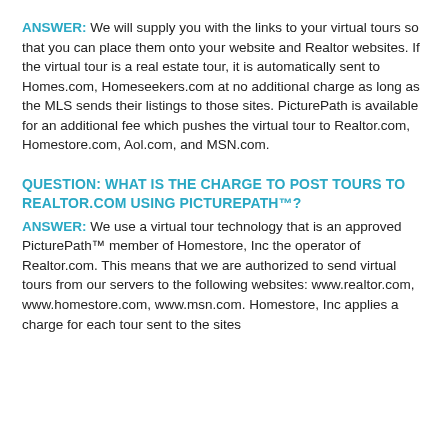ANSWER: We will supply you with the links to your virtual tours so that you can place them onto your website and Realtor websites. If the virtual tour is a real estate tour, it is automatically sent to Homes.com, Homeseekers.com at no additional charge as long as the MLS sends their listings to those sites. PicturePath is available for an additional fee which pushes the virtual tour to Realtor.com, Homestore.com, Aol.com, and MSN.com.
QUESTION: WHAT IS THE CHARGE TO POST TOURS TO REALTOR.COM USING PICTUREPATH™?
ANSWER: We use a virtual tour technology that is an approved PicturePath™ member of Homestore, Inc the operator of Realtor.com. This means that we are authorized to send virtual tours from our servers to the following websites: www.realtor.com, www.homestore.com, www.msn.com. Homestore, Inc applies a charge for each tour sent to the sites